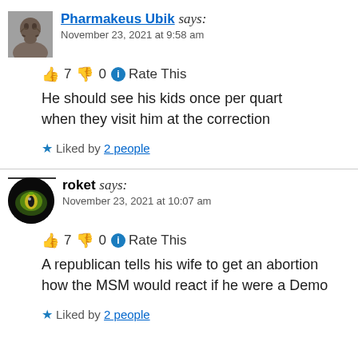[Figure (photo): Avatar of Pharmakeus Ubik - grayscale illustration of a bearded man]
Pharmakeus Ubik says:
November 23, 2021 at 9:58 am
👍 7 👎 0 ℹ Rate This
He should see his kids once per quart when they visit him at the correction
★ Liked by 2 people
[Figure (photo): Avatar of roket - green and yellow eye/orb illustration on black background]
roket says:
November 23, 2021 at 10:07 am
👍 7 👎 0 ℹ Rate This
A republican tells his wife to get an abortion how the MSM would react if he were a Demo
★ Liked by 2 people